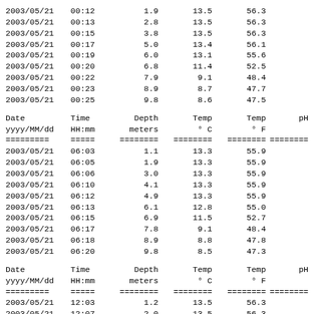| Date yyyy/MM/dd | Time HH:mm | Depth meters | Temp ° C | Temp ° F | pH |
| --- | --- | --- | --- | --- | --- |
| 2003/05/21 | 00:12 | 1.9 | 13.5 | 56.3 |  |
| 2003/05/21 | 00:13 | 2.8 | 13.5 | 56.3 |  |
| 2003/05/21 | 00:15 | 3.8 | 13.5 | 56.3 |  |
| 2003/05/21 | 00:17 | 5.0 | 13.4 | 56.1 |  |
| 2003/05/21 | 00:19 | 6.0 | 13.1 | 55.6 |  |
| 2003/05/21 | 00:20 | 6.8 | 11.4 | 52.5 |  |
| 2003/05/21 | 00:22 | 7.9 | 9.1 | 48.4 |  |
| 2003/05/21 | 00:23 | 8.9 | 8.7 | 47.7 |  |
| 2003/05/21 | 00:25 | 9.8 | 8.6 | 47.5 |  |
| Date yyyy/MM/dd | Time HH:mm | Depth meters | Temp ° C | Temp ° F | pH |
| --- | --- | --- | --- | --- | --- |
| 2003/05/21 | 06:03 | 1.1 | 13.3 | 55.9 |  |
| 2003/05/21 | 06:05 | 1.9 | 13.3 | 55.9 |  |
| 2003/05/21 | 06:06 | 3.0 | 13.3 | 55.9 |  |
| 2003/05/21 | 06:10 | 4.1 | 13.3 | 55.9 |  |
| 2003/05/21 | 06:12 | 4.9 | 13.3 | 55.9 |  |
| 2003/05/21 | 06:13 | 6.1 | 12.8 | 55.0 |  |
| 2003/05/21 | 06:15 | 6.9 | 11.5 | 52.7 |  |
| 2003/05/21 | 06:17 | 7.8 | 9.1 | 48.4 |  |
| 2003/05/21 | 06:18 | 8.9 | 8.8 | 47.8 |  |
| 2003/05/21 | 06:20 | 9.8 | 8.5 | 47.3 |  |
| Date yyyy/MM/dd | Time HH:mm | Depth meters | Temp ° C | Temp ° F | pH |
| --- | --- | --- | --- | --- | --- |
| 2003/05/21 | 12:03 | 1.2 | 13.5 | 56.3 |  |
| 2003/05/21 | 12:07 | 2.0 | 13.5 | 56.3 |  |
| 2003/05/21 | 12:08 | 2.9 | 13.5 | 56.3 |  |